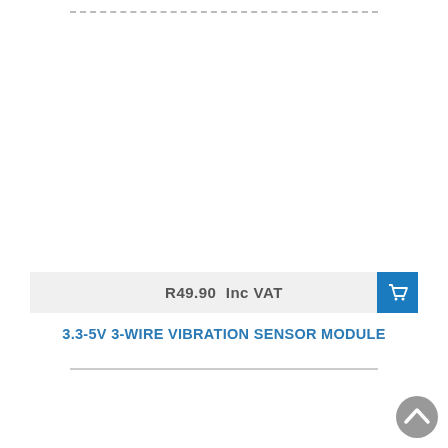[Figure (photo): Product image area (white/blank) for 3.3-5V 3-Wire Vibration Sensor Module]
R49.90  Inc VAT
3.3-5V 3-WIRE VIBRATION SENSOR MODULE